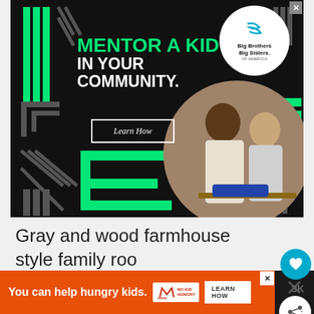[Figure (screenshot): Big Brothers Big Sisters of America advertisement: black background with green geometric patterns, text 'MENTOR A KID IN YOUR COMMUNITY.' with 'Learn How' button, circular photo of adult man and child working on robotics project together, BBBS logo in white circle top right]
Gray and wood farmhouse style family room by chango & co.
[Figure (screenshot): No Kid Hungry advertisement banner: orange background with text 'You can help hungry kids.' and 'LEARN HOW' button]